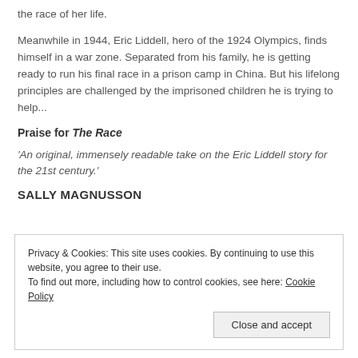the race of her life.
Meanwhile in 1944, Eric Liddell, hero of the 1924 Olympics, finds himself in a war zone. Separated from his family, he is getting ready to run his final race in a prison camp in China. But his lifelong principles are challenged by the imprisoned children he is trying to help...
Praise for The Race
'An original, immensely readable take on the Eric Liddell story for the 21st century.'
SALLY MAGNUSSON
Privacy & Cookies: This site uses cookies. By continuing to use this website, you agree to their use. To find out more, including how to control cookies, see here: Cookie Policy